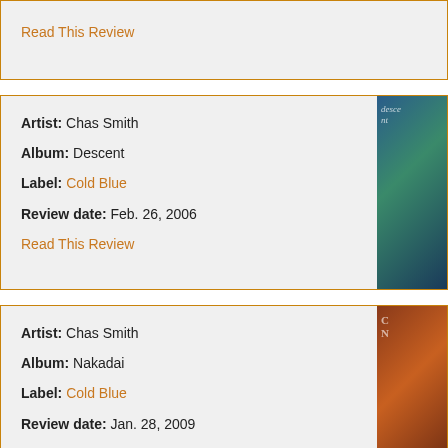Read This Review
Artist: Chas Smith
Album: Descent
Label: Cold Blue
Review date: Feb. 26, 2006
Read This Review
Artist: Chas Smith
Album: Nakadai
Label: Cold Blue
Review date: Jan. 28, 2009
Read This Review